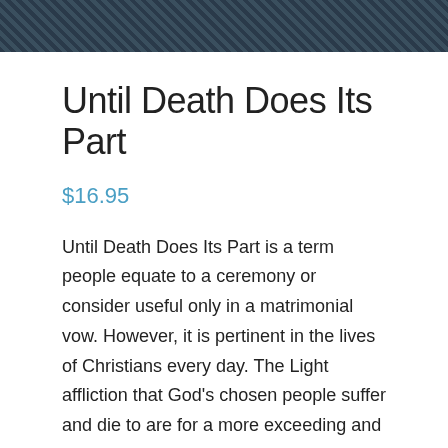[Figure (illustration): Dark teal/navy cross-hatched or grid pattern banner image at the top of the page]
Until Death Does Its Part
$16.95
Until Death Does Its Part is a term people equate to a ceremony or consider useful only in a matrimonial vow. However, it is pertinent in the lives of Christians every day. The Light affliction that God’s chosen people suffer and die to are for a more exceeding and eternal weight of glory. Death has to do its part in us, meaning the dying of one’s self to the will of our creator God. When we choose to give God what he is longing for in